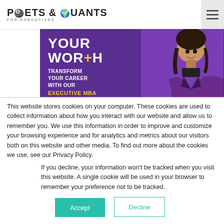POETS & QUANTS FOR EXECUTIVES
[Figure (illustration): Purple promotional banner showing 'YOUR WORTH' in bold white text with a yellow plus sign, 'TRANSFORM YOUR CAREER WITH OUR EXECUTIVE MBA' text, and a woman in a purple blazer on the right side]
This website stores cookies on your computer. These cookies are used to collect information about how you interact with our website and allow us to remember you. We use this information in order to improve and customize your browsing experience and for analytics and metrics about our visitors both on this website and other media. To find out more about the cookies we use, see our Privacy Policy.
If you decline, your information won't be tracked when you visit this website. A single cookie will be used in your browser to remember your preference not to be tracked.